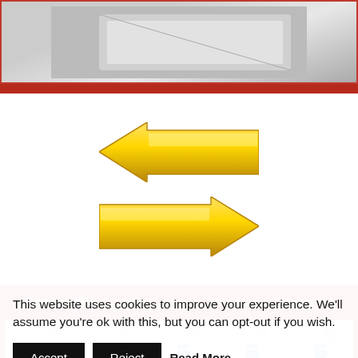[Figure (photo): Partial image visible at top of page, appears to be a keyboard or device, gray tones]
[Figure (illustration): Two large yellow 3D arrows: one pointing left, one pointing right]
Bonus #35: 10 New Longer Pro Music Tracks v3
[Figure (illustration): Five WAV file icons with blue music note, each labeled WAV]
This website uses cookies to improve your experience. We'll assume you're ok with this, but you can opt-out if you wish.
Accept  Reject  Read More